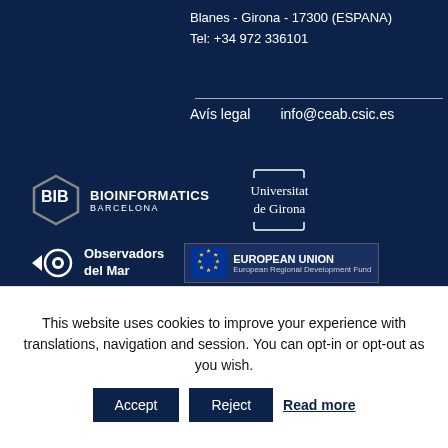Blanes - Girona - 17300 (ESPANA)
Tel: +34 972 336101
Avís legal    info@ceab.csic.es
[Figure (logo): Bioinformatics Barcelona logo with hexagon icon and text]
[Figure (logo): Universitat de Girona logo with bracket design and text]
[Figure (logo): Observadors del Mar logo with fish/eye icon]
[Figure (logo): European Union European Regional Development Fund logo with stars circle]
This website uses cookies to improve your experience with translations, navigation and session. You can opt-in or opt-out as you wish.